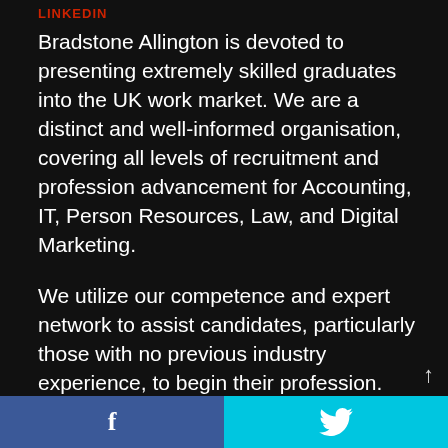LINKEDIN
Bradstone Allington is devoted to presenting extremely skilled graduates into the UK work market. We are a distinct and well-informed organisation, covering all levels of recruitment and profession advancement for Accounting, IT, Person Resources, Law, and Digital Marketing.
We utilize our competence and expert network to assist candidates, particularly those with no previous industry experience, to begin their profession. Bradstone Allington is a recruitment & training company based in
f  [twitter bird icon]